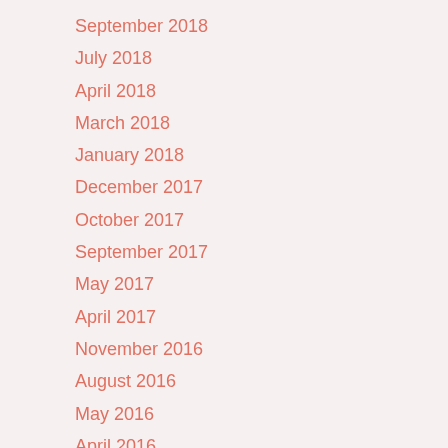September 2018
July 2018
April 2018
March 2018
January 2018
December 2017
October 2017
September 2017
May 2017
April 2017
November 2016
August 2016
May 2016
April 2016